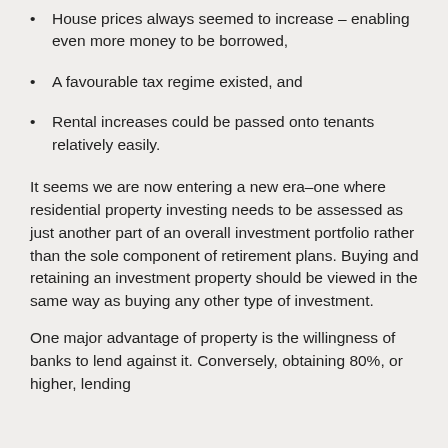House prices always seemed to increase – enabling even more money to be borrowed,
A favourable tax regime existed, and
Rental increases could be passed onto tenants relatively easily.
It seems we are now entering a new era–one where residential property investing needs to be assessed as just another part of an overall investment portfolio rather than the sole component of retirement plans. Buying and retaining an investment property should be viewed in the same way as buying any other type of investment.
One major advantage of property is the willingness of banks to lend against it. Conversely, obtaining 80%, or higher, lending